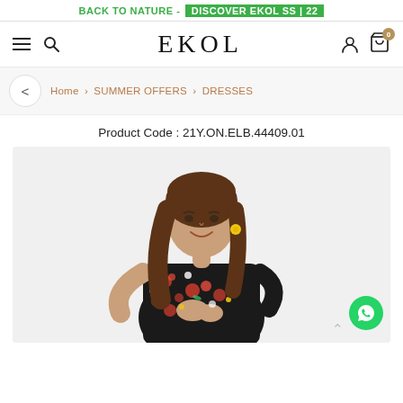BACK TO NATURE - DISCOVER EKOL SS | 22
EKOL
Home > SUMMER OFFERS > DRESSES
Product Code : 21Y.ON.ELB.44409.01
[Figure (photo): Woman wearing a black floral dress, smiling, with long brown hair and a yellow earring.]